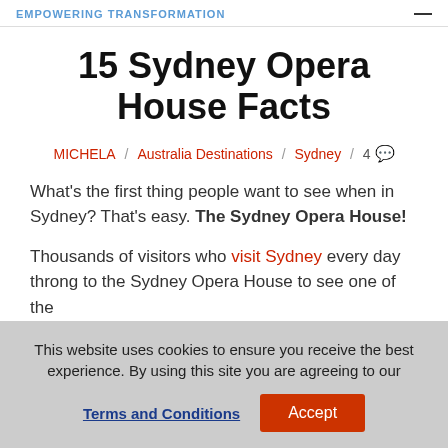EMPOWERING TRANSFORMATION
15 Sydney Opera House Facts
MICHELA / Australia Destinations / Sydney / 4
What's the first thing people want to see when in Sydney? That's easy. The Sydney Opera House!
Thousands of visitors who visit Sydney every day throng to the Sydney Opera House to see one of the
This website uses cookies to ensure you receive the best experience. By using this site you are agreeing to our Terms and Conditions  Accept